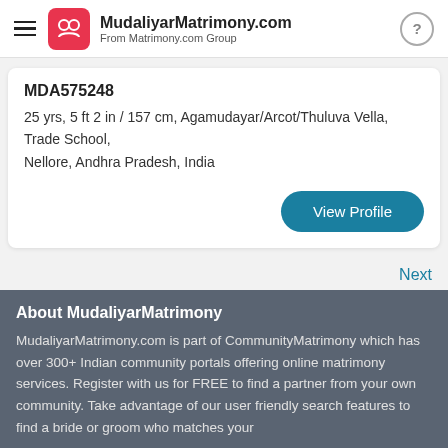MudaliyarMatrimony.com — From Matrimony.com Group
MDA575248
25 yrs, 5 ft 2 in / 157 cm, Agamudayar/Arcot/Thuluva Vella,
Trade School,
Nellore, Andhra Pradesh, India
View Profile
Next
About MudaliyarMatrimony
MudaliyarMatrimony.com is part of CommunityMatrimony which has over 300+ Indian community portals offering online matrimony services. Register with us for FREE to find a partner from your own community. Take advantage of our user friendly search features to find a bride or groom who matches your